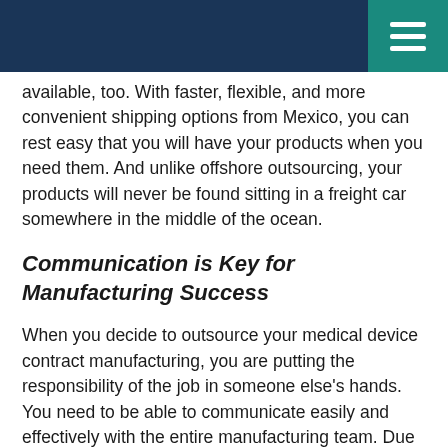available, too. With faster, flexible, and more convenient shipping options from Mexico, you can rest easy that you will have your products when you need them. And unlike offshore outsourcing, your products will never be found sitting in a freight car somewhere in the middle of the ocean.
Communication is Key for Manufacturing Success
When you decide to outsource your medical device contract manufacturing, you are putting the responsibility of the job in someone else's hands. You need to be able to communicate easily and effectively with the entire manufacturing team. Due to the close nature of Mexico to the U.S., close time zones and easy travel are possible.